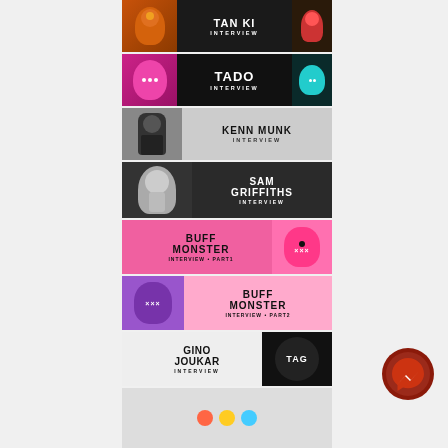[Figure (illustration): TAN KI interview banner with toy figurines on orange/dark background]
[Figure (illustration): TADO interview banner with glowing mushroom-like toy figurines on black background]
[Figure (illustration): KENN MUNK interview banner with dark action figure toy on grey background]
[Figure (illustration): SAM GRIFFITHS interview banner with white/grey robot-like toy on dark background]
[Figure (illustration): BUFF MONSTER interview PART1 banner with pink monster toy on pink background]
[Figure (illustration): BUFF MONSTER interview PART2 banner with purple monster toy on pink background]
[Figure (illustration): GINO JOUKAR interview banner with TAG logo ball on black background]
[Figure (illustration): Partially visible colorful banner at the bottom]
[Figure (illustration): Facebook Messenger circular button icon in dark red/brown]